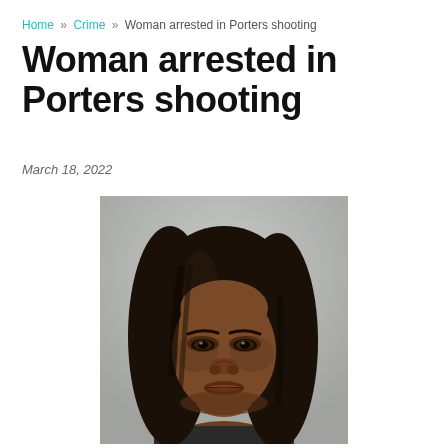Home » Crime » Woman arrested in Porters shooting
Woman arrested in Porters shooting
March 18, 2022
[Figure (photo): Mugshot photograph of a woman with long dark hair against a gray background]